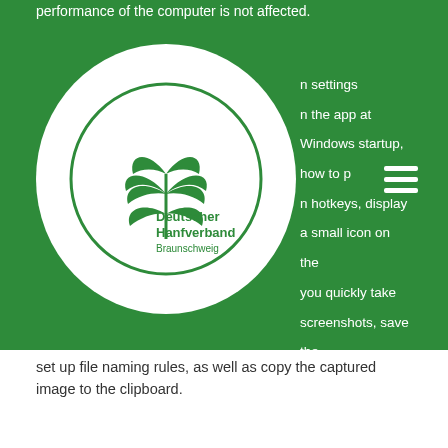performance of the computer is not affected.
Deutscher Hanfverband Braunschweig
n settings
n the app at Windows startup, how to p... n hotkeys, display a small icon on the... you quickly take screenshots, save the... automatically to a user-defined location, set up file naming rules, as well as copy the captured image to the clipboard.
Bottom line
All in all, SScapture comes bundled with basic features for helping you take screenshots. It cannot be considered a top application from its category, as it lacks support for advanced features that could help you draw freehand designs on the screenshot using a pen and marker, embed text messages, set the image quality, and automatically take screenshots at a user-defined time, just to name a few suggestions.